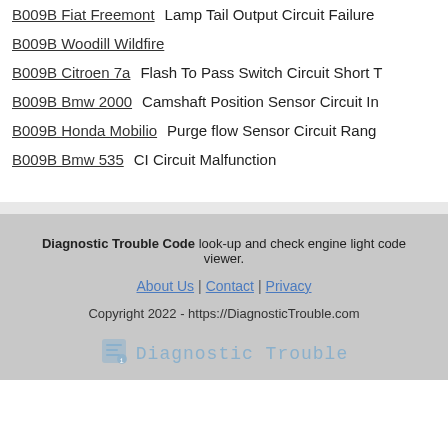B009B Fiat Freemont    Lamp Tail Output Circuit Failure
B009B Woodill Wildfire
B009B Citroen 7a    Flash To Pass Switch Circuit Short T
B009B Bmw 2000    Camshaft Position Sensor Circuit In
B009B Honda Mobilio    Purge flow Sensor Circuit Rang
B009B Bmw 535    CI Circuit Malfunction
Diagnostic Trouble Code look-up and check engine light code viewer.
About Us | Contact | Privacy
Copyright 2022 - https://DiagnosticTrouble.com
Diagnostic Trouble